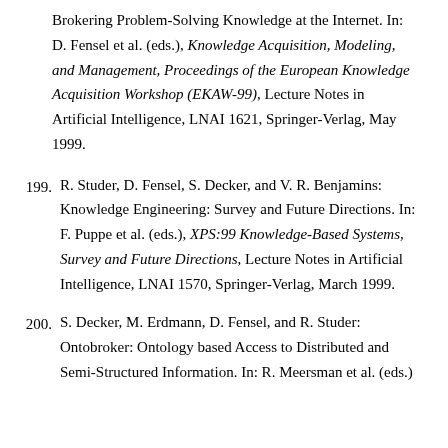Brokering Problem-Solving Knowledge at the Internet. In: D. Fensel et al. (eds.), Knowledge Acquisition, Modeling, and Management, Proceedings of the European Knowledge Acquisition Workshop (EKAW-99), Lecture Notes in Artificial Intelligence, LNAI 1621, Springer-Verlag, May 1999.
199. R. Studer, D. Fensel, S. Decker, and V. R. Benjamins: Knowledge Engineering: Survey and Future Directions. In: F. Puppe et al. (eds.), XPS:99 Knowledge-Based Systems, Survey and Future Directions, Lecture Notes in Artificial Intelligence, LNAI 1570, Springer-Verlag, March 1999.
200. S. Decker, M. Erdmann, D. Fensel, and R. Studer: Ontobroker: Ontology based Access to Distributed and Semi-Structured Information. In: R. Meersman et al. (eds.)